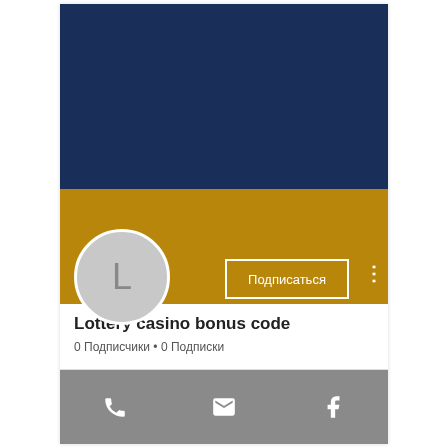[Figure (screenshot): Mobile app profile page screenshot showing a dark navy blue top banner, a gold/ochre lower banner with a circular avatar displaying the letter L, a subscribe button labeled Подписаться with a white border, a three-dot menu icon, the channel name Lottery casino bonus code, subscriber info showing 0 Подписчики • 0 Подписки, and a gray bottom toolbar with phone, email, and Facebook icons.]
Lottery casino bonus code
0 Подписчики • 0 Подписки